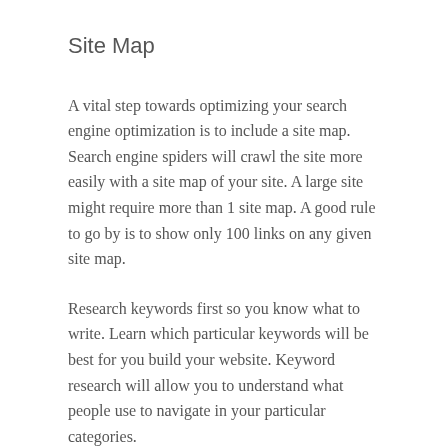Site Map
A vital step towards optimizing your search engine optimization is to include a site map. Search engine spiders will crawl the site more easily with a site map of your site. A large site might require more than 1 site map. A good rule to go by is to show only 100 links on any given site map.
Research keywords first so you know what to write. Learn which particular keywords will be best for you build your website. Keyword research will allow you to understand what people use to navigate in your particular categories.
Try moving to the podcast world.Podcasts can include video or be audio-only, that are sometimes streamed live, and should include information that your consumers are